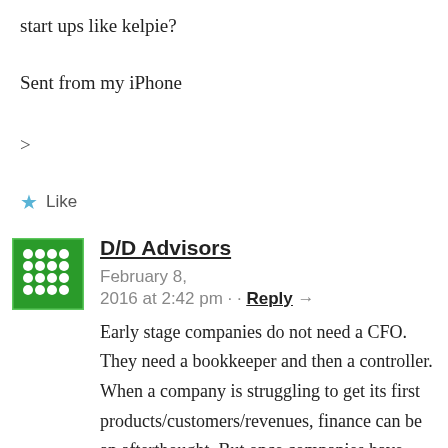start ups like kelpie?
Sent from my iPhone
>
★  Like
D/D Advisors  February 8, 2016 at 2:42 pm · · Reply →
Early stage companies do not need a CFO. They need a bookkeeper and then a controller. When a company is struggling to get its first products/customers/revenues, finance can be an afterthought. But once companies have commercial traction, and